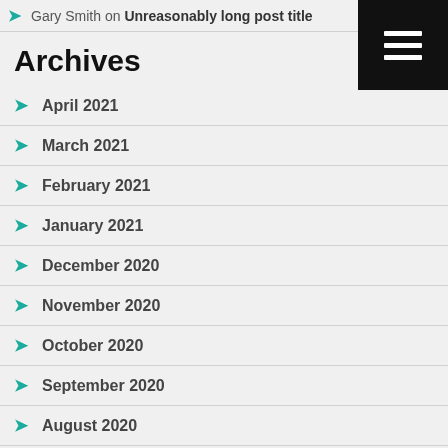Gary Smith on Unreasonably long post title
Archives
April 2021
March 2021
February 2021
January 2021
December 2020
November 2020
October 2020
September 2020
August 2020